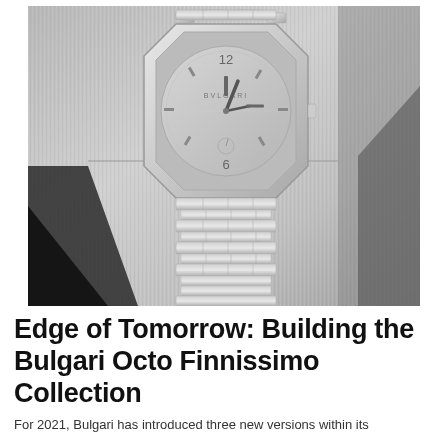[Figure (photo): Black and white photograph of a Bulgari Octo Finnissimo watch with an integrated steel bracelet, octagonal case, and minimalist silver dial showing the BVLGARI logo, displayed against a brushed metal background with a dark silhouette in the lower left.]
Edge of Tomorrow: Building the Bulgari Octo Finnissimo Collection
For 2021, Bulgari has introduced three new versions within its